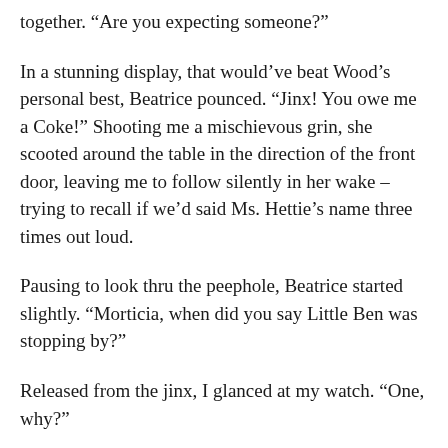together. “Are you expecting someone?”
In a stunning display, that would’ve beat Wood’s personal best, Beatrice pounced. “Jinx! You owe me a Coke!” Shooting me a mischievous grin, she scooted around the table in the direction of the front door, leaving me to follow silently in her wake – trying to recall if we’d said Ms. Hettie’s name three times out loud.
Pausing to look thru the peephole, Beatrice started slightly. “Morticia, when did you say Little Ben was stopping by?”
Released from the jinx, I glanced at my watch. “One, why?”
“Well, prepare yourself.” Unbolting the door, Beatrice swung it open, revealing Little Ben standing on our doormat.